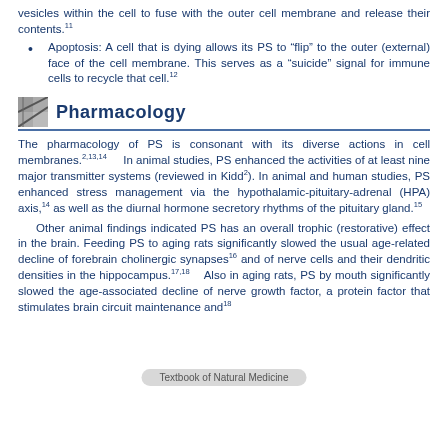vesicles within the cell to fuse with the outer cell membrane and release their contents.
Apoptosis: A cell that is dying allows its PS to “flip” to the outer (external) face of the cell membrane. This serves as a “suicide” signal for immune cells to recycle that cell.
Pharmacology
The pharmacology of PS is consonant with its diverse actions in cell membranes. In animal studies, PS enhanced the activities of at least nine major transmitter systems (reviewed in Kidd). In animal and human studies, PS enhanced stress management via the hypothalamic-pituitary-adrenal (HPA) axis, as well as the diurnal hormone secretory rhythms of the pituitary gland.
Other animal findings indicated PS has an overall trophic (restorative) effect in the brain. Feeding PS to aging rats significantly slowed the usual age-related decline of forebrain cholinergic synapses and of nerve cells and their dendritic densities in the hippocampus. Also in aging rats, PS by mouth significantly slowed the age-associated decline of nerve growth factor, a protein factor that stimulates brain circuit maintenance and